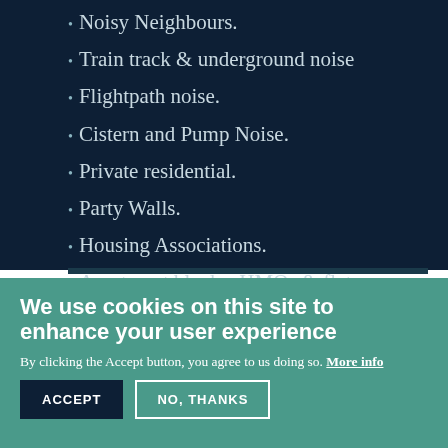Noisy Neighbours.
Train track & underground noise
Flightpath noise.
Cistern and Pump Noise.
Private residential.
Party Walls.
Housing Associations.
Apartment blocks, HMOs & flats.
We use cookies on this site to enhance your user experience
By clicking the Accept button, you agree to us doing so. More info
ACCEPT
NO, THANKS